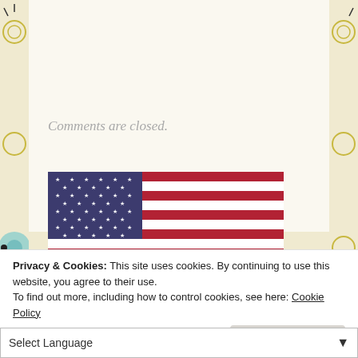Comments are closed.
[Figure (illustration): American flag (USA flag) with blue canton of white stars and red and white horizontal stripes]
Privacy & Cookies: This site uses cookies. By continuing to use this website, you agree to their use.
To find out more, including how to control cookies, see here: Cookie Policy
Close and accept
Select Language